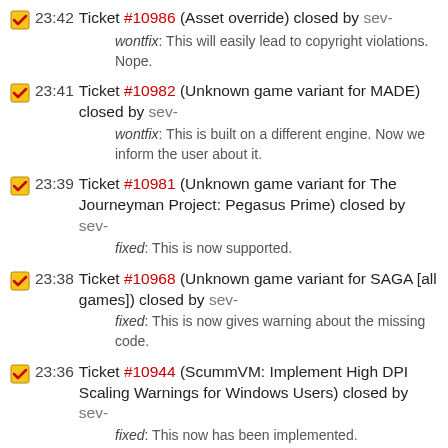23:42 Ticket #10986 (Asset override) closed by sev-
wontfix: This will easily lead to copyright violations. Nope.
23:41 Ticket #10982 (Unknown game variant for MADE) closed by sev-
wontfix: This is built on a different engine. Now we inform the user about it.
23:39 Ticket #10981 (Unknown game variant for The Journeyman Project: Pegasus Prime) closed by sev-
fixed: This is now supported.
23:38 Ticket #10968 (Unknown game variant for SAGA [all games]) closed by sev-
fixed: This is now gives warning about the missing code.
23:36 Ticket #10944 (ScummVM: Implement High DPI Scaling Warnings for Windows Users) closed by sev-
fixed: This now has been implemented.
23:33 Ticket #10886 (Add massive configurations list removing / purge option) closed by sev-
wontfix: Edit scummvm.ini in your preferred text editor.